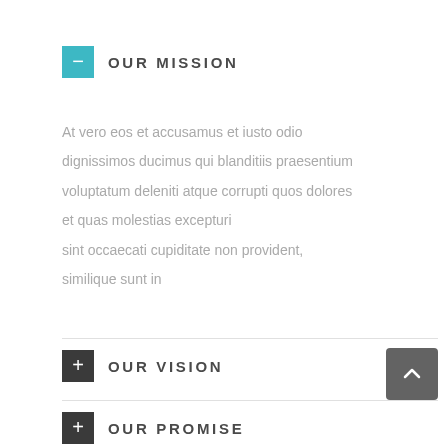OUR MISSION
At vero eos et accusamus et iusto odio dignissimos ducimus qui blanditiis praesentium voluptatum deleniti atque corrupti quos dolores et quas molestias excepturi sint occaecati cupiditate non provident, similique sunt in
OUR VISION
OUR PROMISE